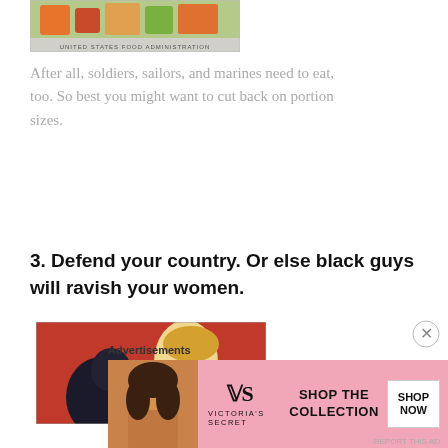[Figure (illustration): Partial view of a United States Food Administration poster showing colorful food items at top, with text 'UNITED STATES FOOD ADMINISTRATION' along the bottom edge]
After all, soldiers, sailors, and marines need to eat, too. So best you might want to cut back on portion sizes.
3. Defend your country. Or else black guys will ravish your women.
[Figure (illustration): A vintage pulp illustration on a red background showing a woman with blonde hair leaning back while a dark-silhouetted figure grabs her]
Advertisements
[Figure (advertisement): Victoria's Secret advertisement banner with pink background showing a woman model on left, VS logo and 'VICTORIA'S SECRET' text, 'SHOP THE COLLECTION' text, and a white 'SHOP NOW' button]